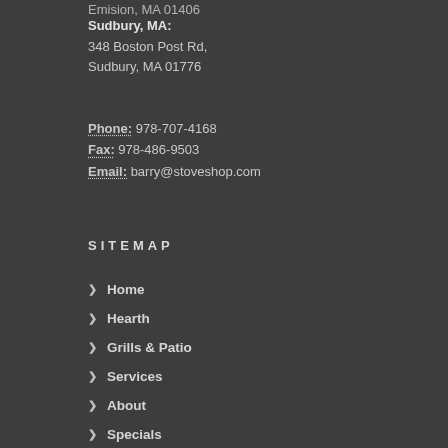Sudbury, MA: 348 Boston Post Rd, Sudbury, MA 01776
Phone: 978-707-4168
Fax: 978-486-9503
Email: barry@stoveshop.com
SITEMAP
Home
Hearth
Grills & Patio
Services
About
Specials